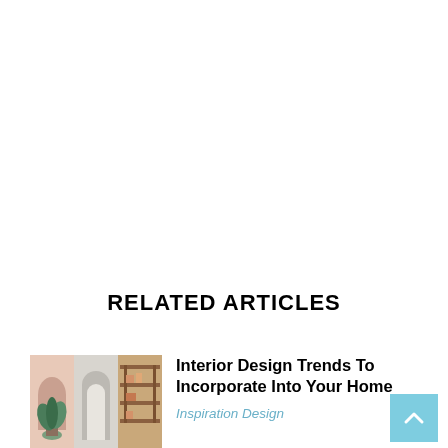RELATED ARTICLES
[Figure (photo): Collage of interior design photos showing plants, arched doorways, and wooden furniture]
Interior Design Trends To Incorporate Into Your Home
Inspiration Design